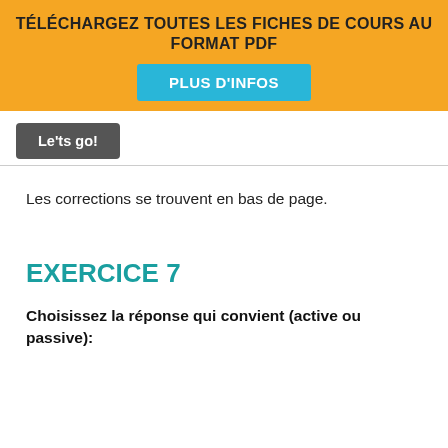TÉLÉCHARGEZ TOUTES LES FICHES DE COURS AU FORMAT PDF
PLUS D'INFOS
Le'ts go!
Les corrections se trouvent en bas de page.
EXERCICE 7
Choisissez la réponse qui convient (active ou passive):